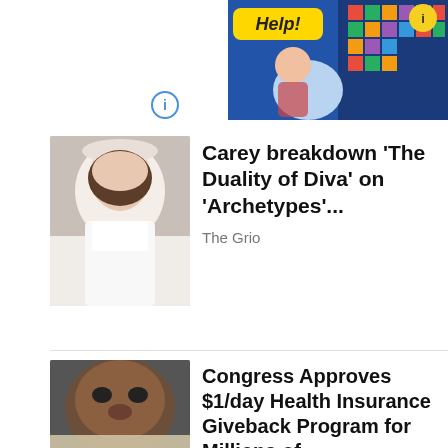[Figure (screenshot): Advertisement banner at top right showing a colorful game with 'Help!' text]
[Figure (photo): Photo of a woman in white outfit, partially visible (Meghan Markle-like figure)]
Carey breakdown 'The Duality of Diva' on 'Archetypes'...
The Grio
[Figure (photo): Close-up photo of a man's face with an insurance company check document visible]
Congress Approves $1/day Health Insurance Giveback Program for Millions of...
obamacareplans.com
[Figure (photo): Photo of a man installing solar panels on a roof, outdoors with trees in background]